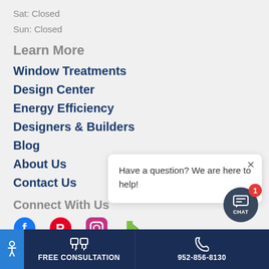Sat: Closed
Sun: Closed
Learn More
Window Treatments
Design Center
Energy Efficiency
Designers & Builders
Blog
About Us
Contact Us
Connect With Us
[Figure (other): Social media icons: Facebook, Pinterest, Instagram, Houzz]
[Figure (other): Chat popup bubble with text: Have a question? We are here to help!]
[Figure (other): Bottom navigation bar with Free Consultation button and phone number 952-856-8130, plus accessibility and chat buttons]